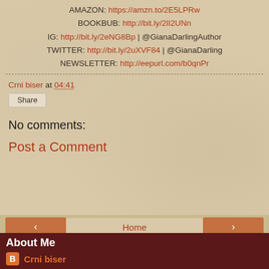AMAZON: https://amzn.to/2E5LPRw
BOOKBUB: http://bit.ly/2lI2UNn
IG: http://bit.ly/2eNG8Bp | @GianaDarlingAuthor
TWITTER: http://bit.ly/2uXVF84 | @GianaDarling
NEWSLETTER: http://eepurl.com/b0qnPr
Crni biser at 04:41
Share
No comments:
Post a Comment
Home
View web version
About Me
Crni biser